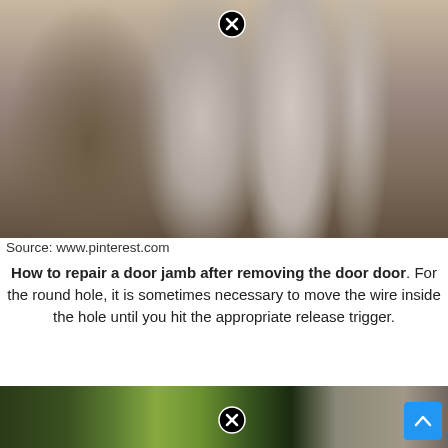[Figure (photo): Close-up photo of a white painted door jamb with some damage/chipping, with a close/X button overlay in the upper area]
Source: www.pinterest.com
How to repair a door jamb after removing the door door. For the round hole, it is sometimes necessary to move the wire inside the hole until you hit the appropriate release trigger.
[Figure (photo): Partial photo at the bottom showing green object/hands with a close/X button overlay]